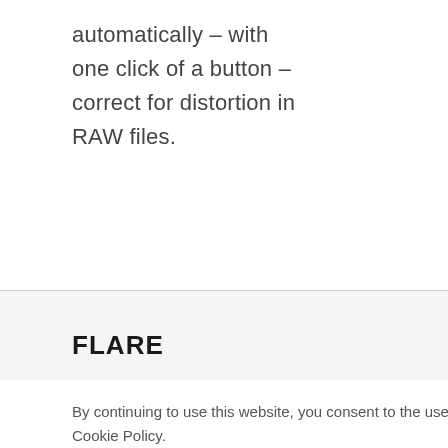automatically – with one click of a button – correct for distortion in RAW files.
FLARE
By continuing to use this website, you consent to the use of cookies in accordance with our Cookie Policy.
ACCEPT
i-55 mm decessor. nad no an open